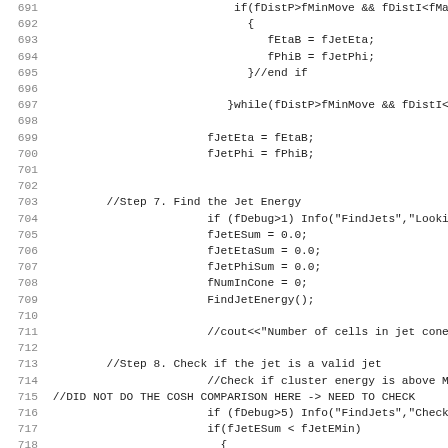Source code listing, lines 691-722, C++ jet finding algorithm
691   if(fDistP>fMinMove && fDistI<fMax
692       {
693           fEtaB = fJetEta;
694           fPhiB = fJetPhi;
695       }//end if
696
697   }while(fDistP>fMinMove && fDistI<fMa
698
699       fJetEta = fEtaB;
700       fJetPhi = fPhiB;
701
702
703   //Step 7. Find the Jet Energy
704       if (fDebug>1) Info("FindJets","Looking
705       fJetESum = 0.0;
706       fJetEtaSum = 0.0;
707       fJetPhiSum = 0.0;
708       fNumInCone = 0;
709       FindJetEnergy();
710
711       //cout<<"Number of cells in jet cone i
712
713   //Step 8. Check if the jet is a valid jet
714       //Check if cluster energy is above Min
715 //DID NOT DO THE COSH COMPARISON HERE -> NEED TO CHECK
716       if (fDebug>5) Info("FindJets","Checkin
717       if(fJetESum < fJetEMin)
718           {
719               for(Int_t count2=0; count2<fNumUni
720                   {
721                       if(fUnit[count2].GetUnitFlag()
722                           fUnit[count2].SetUnitFlag(k